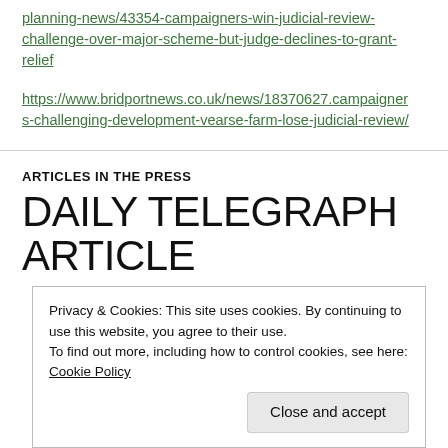planning-news/43354-campaigners-win-judicial-review-challenge-over-major-scheme-but-judge-declines-to-grant-relief
https://www.bridportnews.co.uk/news/18370627.campaigners-challenging-development-vearse-farm-lose-judicial-review/
ARTICLES IN THE PRESS
DAILY TELEGRAPH ARTICLE
Privacy & Cookies: This site uses cookies. By continuing to use this website, you agree to their use. To find out more, including how to control cookies, see here: Cookie Policy
Close and accept
extension to Bridport.